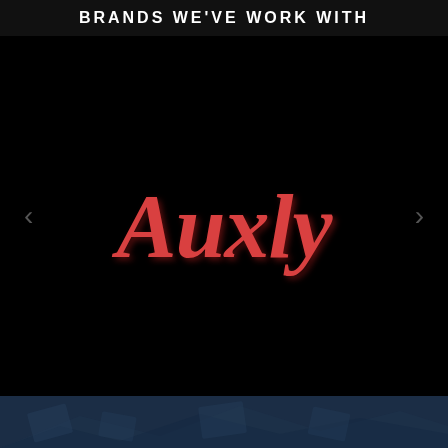BRANDS WE'VE WORK WITH
[Figure (logo): Auxly brand logo in red italic serif font on black background, with left and right carousel navigation arrows]
[Figure (photo): Dark navy blue textured background section at the bottom of the page]